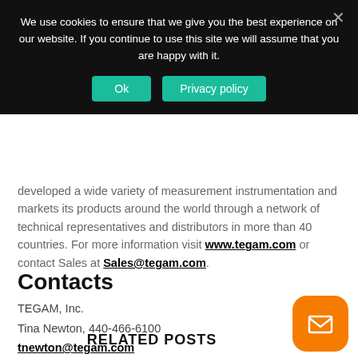We use cookies to ensure that we give you the best experience on our website. If you continue to use this site we will assume that you are happy with it.
developed a wide variety of measurement instrumentation and markets its products around the world through a network of technical representatives and distributors in more than 40 countries. For more information visit www.tegam.com or contact Sales at Sales@tegam.com.
Contacts
TEGAM, Inc.
Tina Newton, 440-466-6100
tnewton@tegam.com
RELATED POSTS